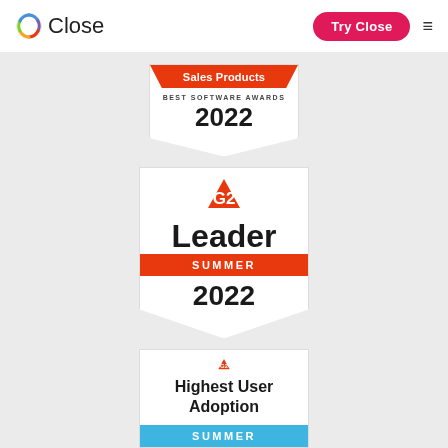Close | Try Close
[Figure (logo): Close CRM logo with colorful circular icon and 'Close' text]
[Figure (illustration): G2 Best Software Awards 2022 badge – Sales Products]
[Figure (illustration): G2 Leader Summer 2022 badge]
[Figure (illustration): G2 Highest User Adoption Summer badge (partially visible)]